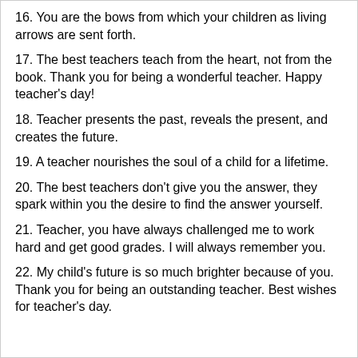16. You are the bows from which your children as living arrows are sent forth.
17. The best teachers teach from the heart, not from the book. Thank you for being a wonderful teacher. Happy teacher's day!
18. Teacher presents the past, reveals the present, and creates the future.
19. A teacher nourishes the soul of a child for a lifetime.
20. The best teachers don't give you the answer, they spark within you the desire to find the answer yourself.
21. Teacher, you have always challenged me to work hard and get good grades. I will always remember you.
22. My child's future is so much brighter because of you. Thank you for being an outstanding teacher. Best wishes for teacher's day.